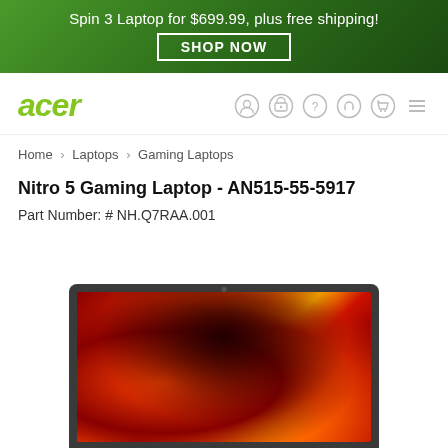Spin 3 Laptop for $699.99, plus free shipping!
SHOP NOW
[Figure (logo): Acer logo in lime green italic text]
Home > Laptops > Gaming Laptops
Nitro 5 Gaming Laptop - AN515-55-5917
Part Number: # NH.Q7RAA.001
[Figure (photo): Acer Nitro 5 gaming laptop showing screen with fiery red and orange flame artwork wallpaper]